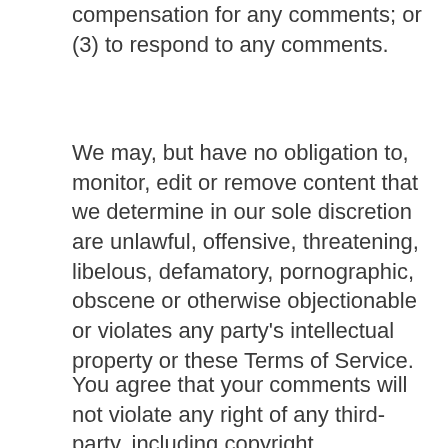compensation for any comments; or (3) to respond to any comments.
We may, but have no obligation to, monitor, edit or remove content that we determine in our sole discretion are unlawful, offensive, threatening, libelous, defamatory, pornographic, obscene or otherwise objectionable or violates any party’s intellectual property or these Terms of Service.
You agree that your comments will not violate any right of any third-party, including copyright, trademark, privacy, personality or other personal or proprietary right. You further agree that your comments will not contain libelous or otherwise unlawful, abusive or obscene material, or contain any computer virus or other malware that could in any way affect the